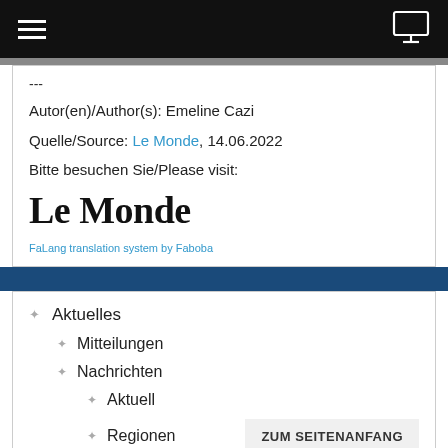navigation bar with hamburger menu and monitor icon
---
Autor(en)/Author(s): Emeline Cazi
Quelle/Source: Le Monde, 14.06.2022
Bitte besuchen Sie/Please visit:
[Figure (logo): Le Monde blackletter logo]
FaLang translation system by Faboba
Aktuelles
Mitteilungen
Nachrichten
Aktuell
Regionen
ZUM SEITENANFANG